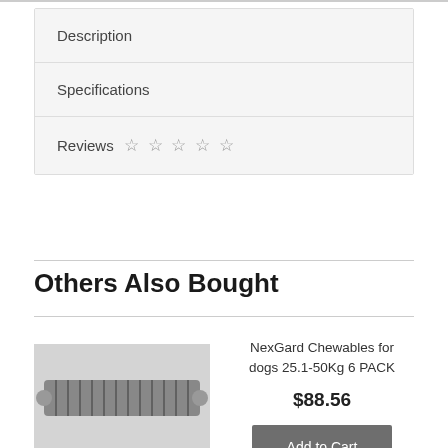Description
Specifications
Reviews ☆ ☆ ☆ ☆ ☆
Others Also Bought
[Figure (photo): Photo of NexGard Chewables product - appears to show a dark coiled/ridged chewable tablet or product]
NexGard Chewables for dogs 25.1-50Kg 6 PACK
$88.56
Add to Cart